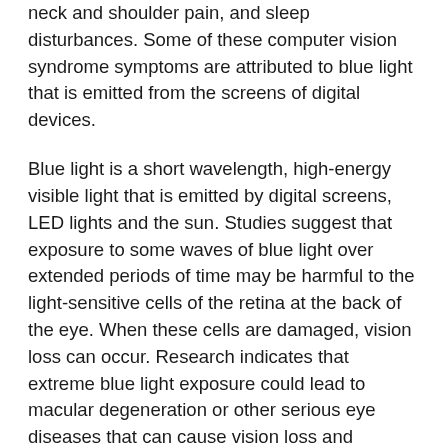neck and shoulder pain, and sleep disturbances. Some of these computer vision syndrome symptoms are attributed to blue light that is emitted from the screens of digital devices.
Blue light is a short wavelength, high-energy visible light that is emitted by digital screens, LED lights and the sun. Studies suggest that exposure to some waves of blue light over extended periods of time may be harmful to the light-sensitive cells of the retina at the back of the eye. When these cells are damaged, vision loss can occur. Research indicates that extreme blue light exposure could lead to macular degeneration or other serious eye diseases that can cause vision loss and blindness. Studies show that blue light also interferes with the regulation of the the body's circadian rhythm which can have a disruptive impact on the body's sleep cycle. Lack of quality sleep can lead to serious health consequences as well.
Beyond these studies, the long term effects of blue light exposure from digital devices are not yet known since this is really the first generation in which people are using digital devices at such a constant rate. While it's not known as fully...